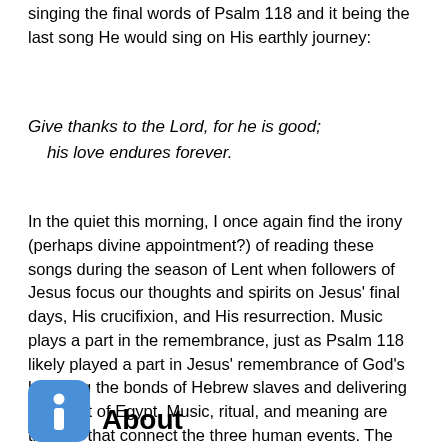singing the final words of Psalm 118 and it being the last song He would sing on His earthly journey:
Give thanks to the Lord, for he is good;
    his love endures forever.
In the quiet this morning, I once again find the irony (perhaps divine appointment?) of reading these songs during the season of Lent when followers of Jesus focus our thoughts and spirits on Jesus' final days, His crucifixion, and His resurrection. Music plays a part in the remembrance, just as Psalm 118 likely played a part in Jesus' remembrance of God's breaking the bonds of Hebrew slaves and delivering them out of Egypt. Music, ritual, and meaning are threads that connect the three human events. The Exodus, the Passion, and my celebration of the Great Story in this season.
[Figure (logo): Blue rounded square icon with a white letter i inside]
About